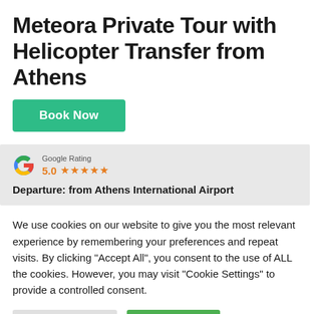Meteora Private Tour with Helicopter Transfer from Athens
Book Now
[Figure (other): Google Rating badge showing 5.0 stars with the Google 'G' logo]
Departure: from Athens International Airport
We use cookies on our website to give you the most relevant experience by remembering your preferences and repeat visits. By clicking "Accept All", you consent to the use of ALL the cookies. However, you may visit "Cookie Settings" to provide a controlled consent.
Cookie Settings
Accept All